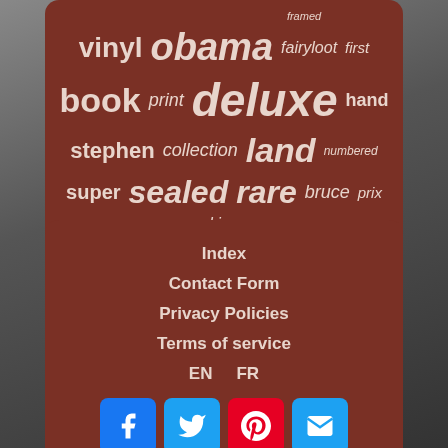[Figure (infographic): Tag cloud of keywords on dark red card: framed, vinyl, obama, fairyloot, first, book, print, deluxe, hand, stephen, collection, land, numbered, super, sealed, rare, bruce, prix, king]
Index
Contact Form
Privacy Policies
Terms of service
EN   FR
[Figure (infographic): Social media buttons: Facebook, Twitter, Pinterest, Email]